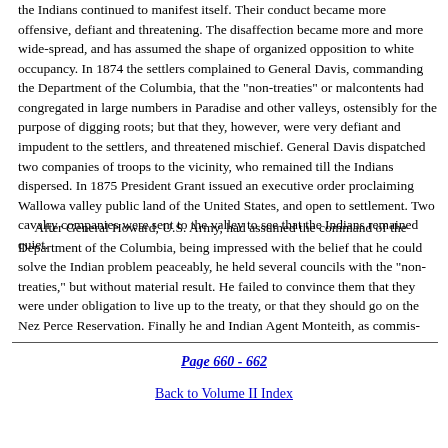the Indians continued to manifest itself. Their conduct became more offensive, defiant and threatening. The disaffection became more and more wide-spread, and has assumed the shape of organized opposition to white occupancy. In 1874 the settlers complained to General Davis, commanding the Department of the Columbia, that the "non-treaties" or malcontents had congregated in large numbers in Paradise and other valleys, ostensibly for the purpose of digging roots; but that they, however, were very defiant and impudent to the settlers, and threatened mischief. General Davis dispatched two companies of troops to the vicinity, who remained till the Indians dispersed. In 1875 President Grant issued an executive order proclaiming Wallowa valley public land of the United States, and open to settlement. Two cavalry companies were sent to the valley to see that the Indians remained quiet.
After General Howard, U.S. Army, had assumed the command of the Department of the Columbia, being impressed with the belief that he could solve the Indian problem peaceably, he held several councils with the "non-treaties," but without material result. He failed to convince them that they were under obligation to live up to the treaty, or that they should go on the Nez Perce Reservation. Finally he and Indian Agent Monteith, as commis-
Page 660 - 662
Back to Volume II Index